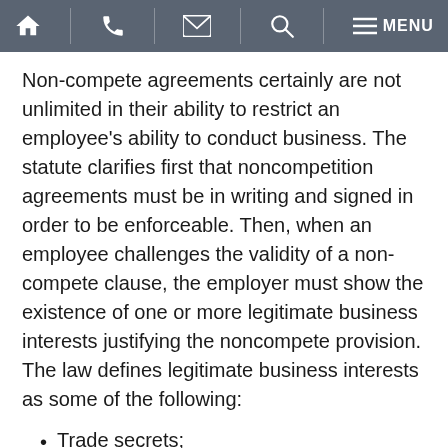Navigation bar with home, phone, email, search, and menu icons
Non-compete agreements certainly are not unlimited in their ability to restrict an employee's ability to conduct business. The statute clarifies first that noncompetition agreements must be in writing and signed in order to be enforceable. Then, when an employee challenges the validity of a non-compete clause, the employer must show the existence of one or more legitimate business interests justifying the noncompete provision. The law defines legitimate business interests as some of the following:
Trade secrets;
Valuable confidential business information (that does not count as trade secrets);
Significant relationships with clients or customers;
Client or customer goodwill; and
Specialized training.
Contact a Florida Employment Lawyer